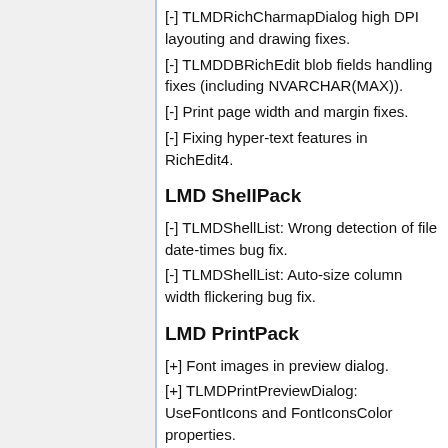[-] TLMDRichCharmapDialog high DPI layouting and drawing fixes.
[-] TLMDDBRichEdit blob fields handling fixes (including NVARCHAR(MAX)).
[-] Print page width and margin fixes.
[-] Fixing hyper-text features in RichEdit4.
LMD ShellPack
[-] TLMDShellList: Wrong detection of file date-times bug fix.
[-] TLMDShellList: Auto-size column width flickering bug fix.
LMD PrintPack
[+] Font images in preview dialog.
[+] TLMDPrintPreviewDialog: UseFontIcons and FontIconsColor properties.
[+] TLMDPrintToolBar: UseFontIcons